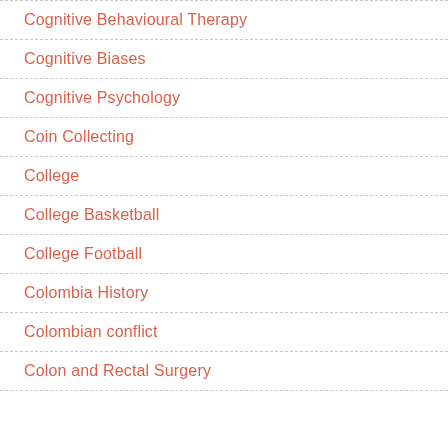Cognitive Behavioural Therapy
Cognitive Biases
Cognitive Psychology
Coin Collecting
College
College Basketball
College Football
Colombia History
Colombian conflict
Colon and Rectal Surgery